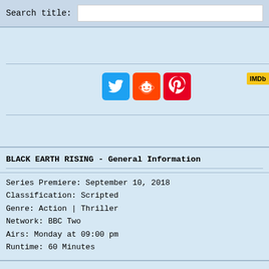Search title:
[Figure (screenshot): Social media share icons: Twitter (blue bird), Reddit (orange alien), Pinterest (red P). IMDb badge visible top right.]
BLACK EARTH RISING - General Information
Series Premiere: September 10, 2018
Classification: Scripted
Genre: Action | Thriller
Network: BBC Two
Airs: Monday at 09:00 pm
Runtime: 60 Minutes
BLACK EARTH RISING - Season 1 -- 8 Episodes
1x1 -- Sep 10, 2018 -- In Other News
1x2 -- Sep 17, 2018 -- Looking at the Past